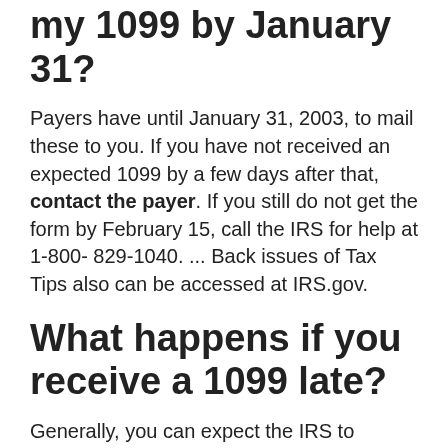my 1099 by January 31?
Payers have until January 31, 2003, to mail these to you. If you have not received an expected 1099 by a few days after that, contact the payer. If you still do not get the form by February 15, call the IRS for help at 1-800- 829-1040. ... Back issues of Tax Tips also can be accessed at IRS.gov.
What happens if you receive a 1099 late?
Generally, you can expect the IRS to impose a late payment penalty of 0.5 percent per month or partial month that late taxes remain unpaid. ... If the 1099 income you forget to include on your return results in a